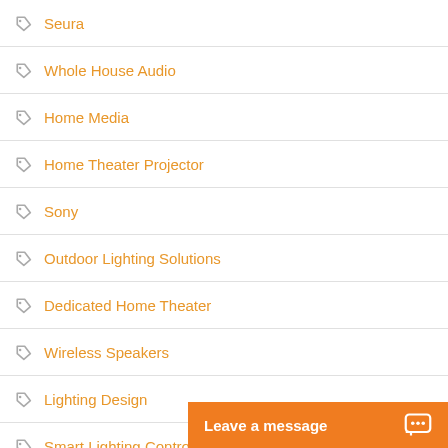Seura
Whole House Audio
Home Media
Home Theater Projector
Sony
Outdoor Lighting Solutions
Dedicated Home Theater
Wireless Speakers
Lighting Design
Smart Lighting Control
Pakedge
Relative Home Systems
home automation
lighting control
Dolby Atmos
Leave a message